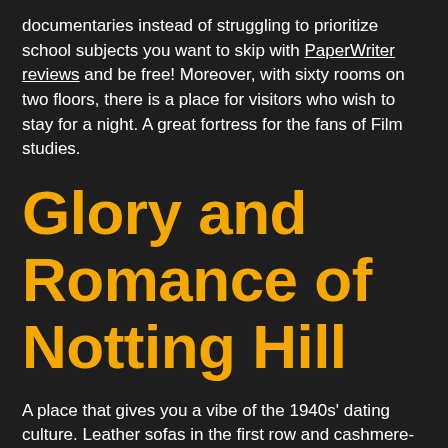documentaries instead of struggling to prioritize school subjects you want to skip with PaperWriter reviews and be free! Moreover, with sixty rooms on two floors, there is a place for visitors who wish to stay for a night. A great fortress for the fans of Film studies.
Glory and Romance of Notting Hill
A place that gives you a vibe of the 1940s' dating culture. Leather sofas in the first row and cashmere-soft armchairs in the last one. Vintage lamps on the desktops between the armchairs are the only sources of light.